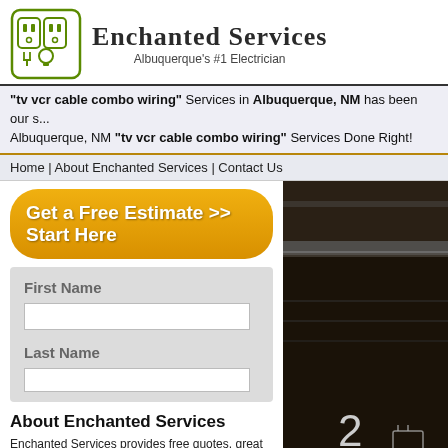[Figure (logo): Enchanted Services logo with electrical outlet and lightbulb icons in green, company name and tagline]
"tv vcr cable combo wiring" Services in Albuquerque, NM has been our s... Albuquerque, NM "tv vcr cable combo wiring" Services Done Right!
Home | About Enchanted Services | Contact Us
Get a Free Estimate >> Start Here
First Name
Last Name
About Enchanted Services
Enchanted Services provides free quotes, great pricing and background checked electricians that provide expert tv vcr cable combo wiring services. We are professional. Between superintendent and owner, Enchanted Services has over 75 years of tv vcr cable combo wiring experience. For all of
[Figure (photo): Close-up photo of what appears to be electronic device keys/buttons, dark background with number 2 visible]